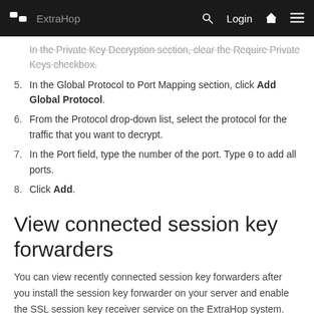ExtraHop — Login
In the Private Key Decryption section, clear the Require Private Keys checkbox.
In the Global Protocol to Port Mapping section, click Add Global Protocol.
From the Protocol drop-down list, select the protocol for the traffic that you want to decrypt.
In the Port field, type the number of the port. Type 0 to add all ports.
Click Add.
View connected session key forwarders
You can view recently connected session key forwarders after you install the session key forwarder on your server and enable the SSL session key receiver service on the ExtraHop system. (text continues)